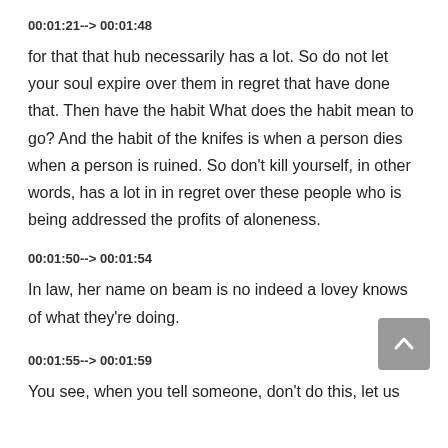00:01:21--> 00:01:48
for that that hub necessarily has a lot. So do not let your soul expire over them in regret that have done that. Then have the habit What does the habit mean to go? And the habit of the knifes is when a person dies when a person is ruined. So don't kill yourself, in other words, has a lot in in regret over these people who is being addressed the profits of aloneness.
00:01:50--> 00:01:54
In law, her name on beam is no indeed a lovey knows of what they're doing.
00:01:55--> 00:01:59
You see, when you tell someone, don't do this, let us